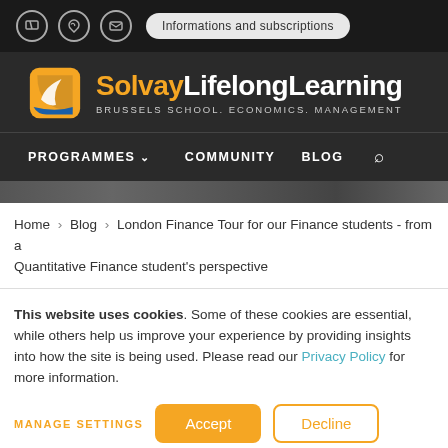Informations and subscriptions
[Figure (logo): Solvay Lifelong Learning logo with orange shield icon and text: BRUSSELS SCHOOL. ECONOMICS. MANAGEMENT]
PROGRAMMES  COMMUNITY  BLOG
[Figure (photo): Dark photograph background strip]
Home › Blog › London Finance Tour for our Finance students - from a Quantitative Finance student's perspective
This website uses cookies. Some of these cookies are essential, while others help us improve your experience by providing insights into how the site is being used. Please read our Privacy Policy for more information.
MANAGE SETTINGS  Accept  Decline